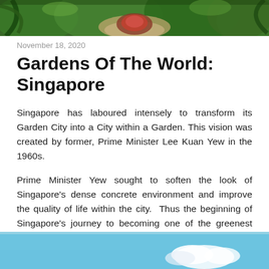[Figure (photo): Top banner image of a lush garden with tropical plants, colorful flowers, and a stone pathway.]
November 18, 2020
Gardens Of The World: Singapore
Singapore has laboured intensely to transform its Garden City into a City within a Garden. This vision was created by former, Prime Minister Lee Kuan Yew in the 1960s.
Prime Minister Yew sought to soften the look of Singapore's dense concrete environment and improve the quality of life within the city.  Thus the beginning of Singapore's journey to becoming one of the greenest countries in the world!
[Figure (photo): Bottom image showing a bright blue sky with clouds, partially visible at the bottom of the page.]